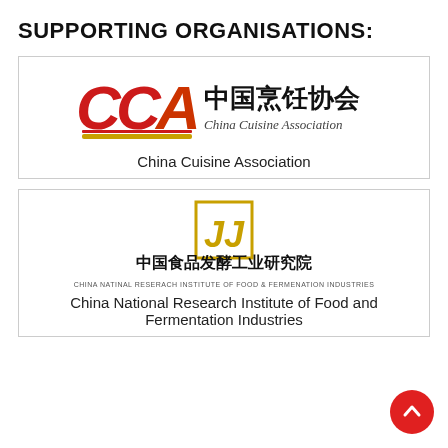SUPPORTING ORGANISATIONS:
[Figure (logo): CCA China Cuisine Association logo with red and gold lettering and Chinese text 中国烹饪协会]
China Cuisine Association
[Figure (logo): China National Research Institute of Food & Fermentation Industries logo with gold square emblem and Chinese text 中国食品发酵工业研究院]
China National Research Institute of Food and Fermentation Industries